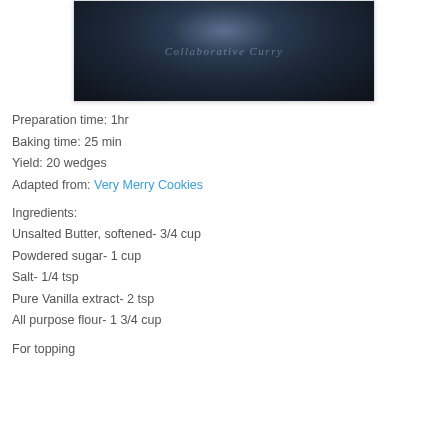[Figure (photo): Close-up dark photograph of baked goods or cookie on wooden surface with 'Collaborative Curry' watermark text]
Preparation time: 1hr
Baking time: 25 min
Yield: 20 wedges
Adapted from: Very Merry Cookies
Ingredients:
Unsalted Butter, softened- 3/4 cup
Powdered sugar- 1 cup
Salt- 1/4 tsp
Pure Vanilla extract- 2 tsp
All purpose flour- 1 3/4 cup
For topping